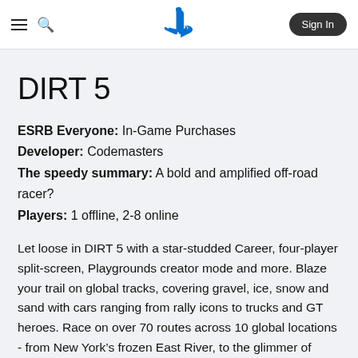PlayStation header with hamburger menu, search icon, PlayStation logo, and Sign In button
DIRT 5
ESRB Everyone: In-Game Purchases
Developer: Codemasters
The speedy summary: A bold and amplified off-road racer?
Players: 1 offline, 2-8 online
Let loose in DIRT 5 with a star-studded Career, four-player split-screen, Playgrounds creator mode and more. Blaze your trail on global tracks, covering gravel, ice, snow and sand with cars ranging from rally icons to trucks and GT heroes. Race on over 70 routes across 10 global locations - from New York’s frozen East River, to the glimmer of Norway’s Northern Lights.